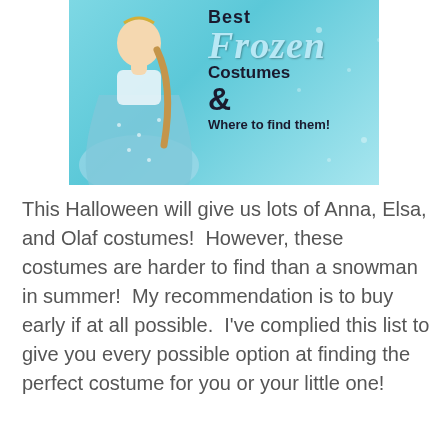[Figure (illustration): Promotional image of a girl dressed in a Frozen/Elsa costume on a light blue background with text overlay: 'Best Frozen Costumes & Where to find them!']
This Halloween will give us lots of Anna, Elsa, and Olaf costumes!  However, these costumes are harder to find than a snowman in summer!  My recommendation is to buy early if at all possible.  I've complied this list to give you every possible option at finding the perfect costume for you or your little one!